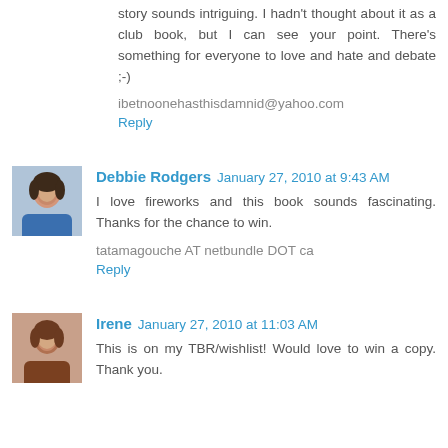story sounds intriguing. I hadn't thought about it as a club book, but I can see your point. There's something for everyone to love and hate and debate ;-)
ibetnoonehasthisdamnid@yahoo.com
Reply
Debbie Rodgers  January 27, 2010 at 9:43 AM
I love fireworks and this book sounds fascinating. Thanks for the chance to win.
tatamagouche AT netbundle DOT ca
Reply
Irene  January 27, 2010 at 11:03 AM
This is on my TBR/wishlist! Would love to win a copy. Thank you.